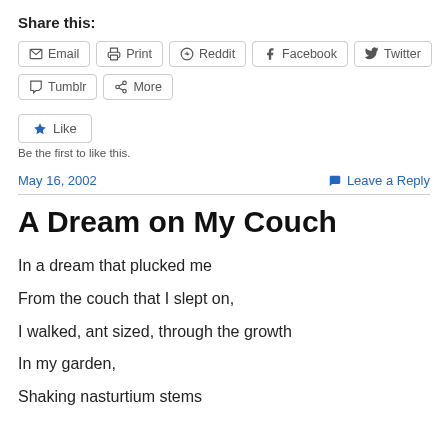Share this:
Email  Print  Reddit  Facebook  Twitter  Tumblr  More
Like
Be the first to like this.
May 16, 2002    Leave a Reply
A Dream on My Couch
In a dream that plucked me
From the couch that I slept on,
I walked, ant sized, through the growth
In my garden,
Shaking nasturtium stems